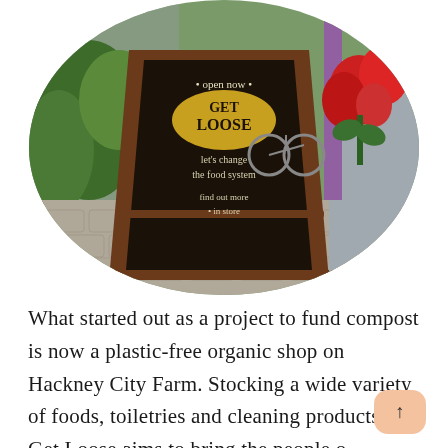[Figure (photo): Oval-cropped outdoor photo showing an A-frame chalkboard sign reading 'open now GET LOOSE let's change the food system find out more in store', set on a cobblestone pavement outside a shop on Hackney City Farm. Red geranium flowers are visible on the right side of the image.]
What started out as a project to fund compost is now a plastic-free organic shop on Hackney City Farm. Stocking a wide variety of foods, toiletries and cleaning products, Get Loose aims to bring the people of Hackney fairly priced, high quality, tasty, ethical food